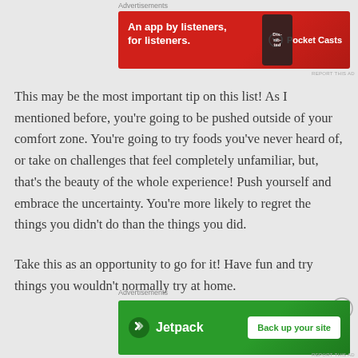[Figure (other): Pocket Casts advertisement banner: red background with text 'An app by listeners, for listeners.' and Pocket Casts logo on right]
This may be the most important tip on this list! As I mentioned before, you're going to be pushed outside of your comfort zone. You're going to try foods you've never heard of, or take on challenges that feel completely unfamiliar, but, that's the beauty of the whole experience! Push yourself and embrace the uncertainty. You're more likely to regret the things you didn't do than the things you did.
Take this as an opportunity to go for it! Have fun and try things you wouldn't normally try at home.
[Figure (other): Jetpack advertisement banner: green background with Jetpack logo on left and 'Back up your site' button on right]